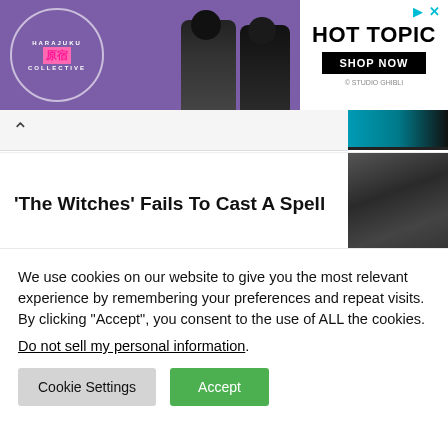[Figure (other): Hot Topic advertisement banner featuring Harajuku Collective branding with anime-style figures in purple outfits and Hot Topic logo with 'Shop Now' button and Studio Ghibli credit]
[Figure (photo): Thumbnail image of people in a dark scene, likely for an article]
'The Witches' Fails To Cast A Spell
[Figure (photo): Partial thumbnail of second article, showing a golden/ornate interior]
We use cookies on our website to give you the most relevant experience by remembering your preferences and repeat visits. By clicking “Accept”, you consent to the use of ALL the cookies.
Do not sell my personal information.
Cookie Settings
Accept